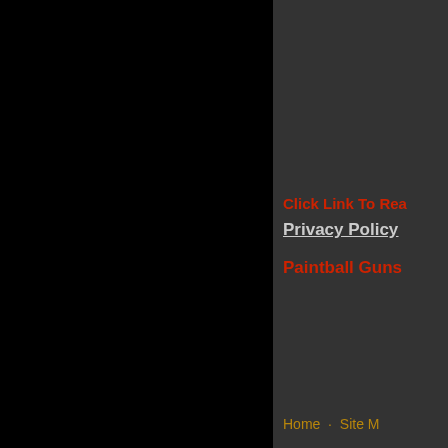[Figure (screenshot): Black left panel occupying roughly 60% of the page width]
Click Link To Rea
Privacy Policy
Paintball Guns
Home · Site M